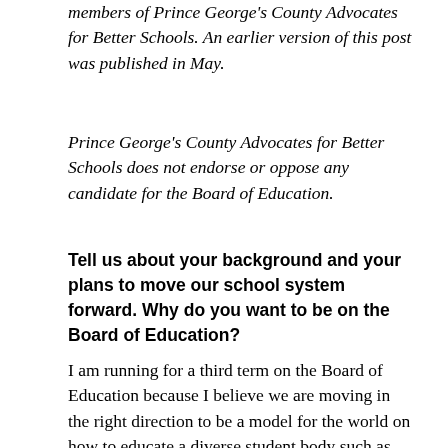members of Prince George's County Advocates for Better Schools. An earlier version of this post was published in May.
Prince George's County Advocates for Better Schools does not endorse or oppose any candidate for the Board of Education.
Tell us about your background and your plans to move our school system forward. Why do you want to be on the Board of Education?
I am running for a third term on the Board of Education because I believe we are moving in the right direction to be a model for the world on how to educate a diverse student body such as Prince George's County. My experience as a council member is...